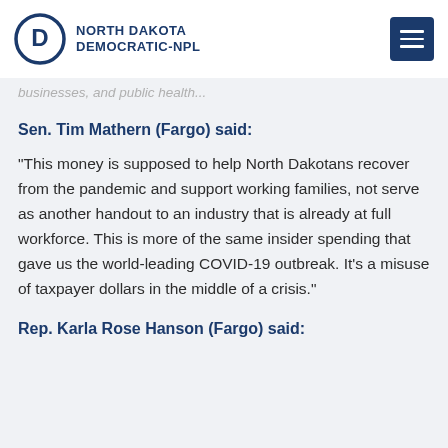NORTH DAKOTA DEMOCRATIC-NPL
businesses, and public health...
Sen. Tim Mathern (Fargo) said:
“This money is supposed to help North Dakotans recover from the pandemic and support working families, not serve as another handout to an industry that is already at full workforce. This is more of the same insider spending that gave us the world-leading COVID-19 outbreak. It’s a misuse of taxpayer dollars in the middle of a crisis.”
Rep. Karla Rose Hanson (Fargo) said: